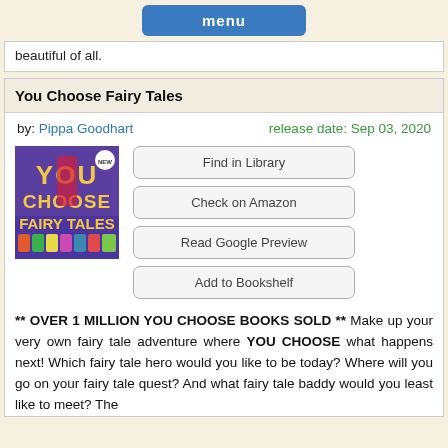menu
beautiful of all.
You Choose Fairy Tales
by: Pippa Goodhart    release date: Sep 03, 2020
[Figure (illustration): Book cover of 'You Choose Fairy Tales' with colorful characters on a purple background]
Find in Library
Check on Amazon
Read Google Preview
Add to Bookshelf
** OVER 1 MILLION YOU CHOOSE BOOKS SOLD ** Make up your very own fairy tale adventure where YOU CHOOSE what happens next! Which fairy tale hero would you like to be today? Where will you go on your fairy tale quest? And what fairy tale baddy would you least like to meet? The